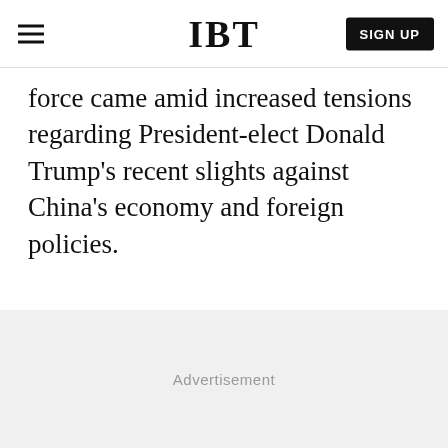IBT
force came amid increased tensions regarding President-elect Donald Trump's recent slights against China's economy and foreign policies.
[Figure (other): Advertisement placeholder area with light gray background and 'Advertisement' label in gray text]